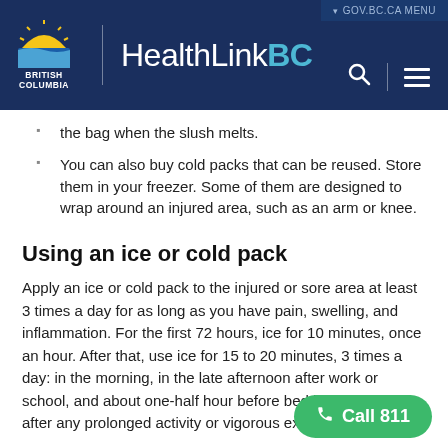GOV.BC.CA MENU | British Columbia HealthLinkBC
the bag when the slush melts.
You can also buy cold packs that can be reused. Store them in your freezer. Some of them are designed to wrap around an injured area, such as an arm or knee.
Using an ice or cold pack
Apply an ice or cold pack to the injured or sore area at least 3 times a day for as long as you have pain, swelling, and inflammation. For the first 72 hours, ice for 10 minutes, once an hour. After that, use ice for 15 to 20 minutes, 3 times a day: in the morning, in the late afternoon after work or school, and about one-half hour before bedtime. Also, ice after any prolonged activity or vigorous exercise.